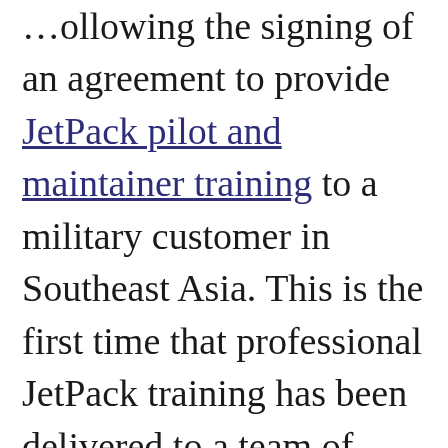…ollowing the signing of an agreement to provide JetPack pilot and maintainer training to a military customer in Southeast Asia. This is the first time that professional JetPack training has been delivered to a team of serving military personnel and represents a critical advancement in the use of